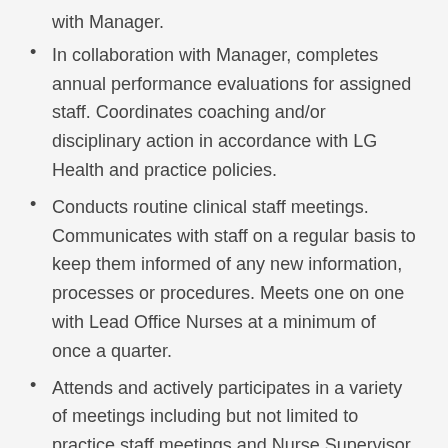with Manager.
In collaboration with Manager, completes annual performance evaluations for assigned staff. Coordinates coaching and/or disciplinary action in accordance with LG Health and practice policies.
Conducts routine clinical staff meetings. Communicates with staff on a regular basis to keep them informed of any new information, processes or procedures. Meets one on one with Lead Office Nurses at a minimum of once a quarter.
Attends and actively participates in a variety of meetings including but not limited to practice staff meetings and Nurse Supervisor meetings.
Clinical:
Provides clinical advice by phone/electronic